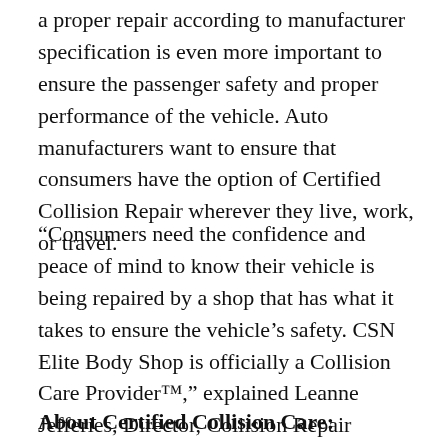a proper repair according to manufacturer specification is even more important to ensure the passenger safety and proper performance of the vehicle. Auto manufacturers want to ensure that consumers have the option of Certified Collision Repair wherever they live, work, or travel.
“Consumers need the confidence and peace of mind to know their vehicle is being repaired by a shop that has what it takes to ensure the vehicle’s safety. CSN Elite Body Shop is officially a Collision Care Provider™,” explained Leanne Jefferies, Director, Collision Repair Network (CRN) Operations and Accounts for Certified Collision Care™. “They represent the standard by which all other body shops are measured.”
About Certified Collision Care: